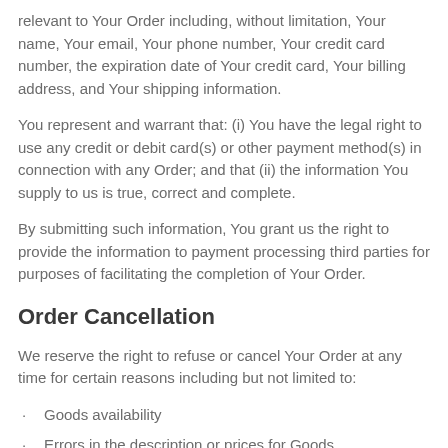relevant to Your Order including, without limitation, Your name, Your email, Your phone number, Your credit card number, the expiration date of Your credit card, Your billing address, and Your shipping information.
You represent and warrant that: (i) You have the legal right to use any credit or debit card(s) or other payment method(s) in connection with any Order; and that (ii) the information You supply to us is true, correct and complete.
By submitting such information, You grant us the right to provide the information to payment processing third parties for purposes of facilitating the completion of Your Order.
Order Cancellation
We reserve the right to refuse or cancel Your Order at any time for certain reasons including but not limited to:
Goods availability
Errors in the description or prices for Goods